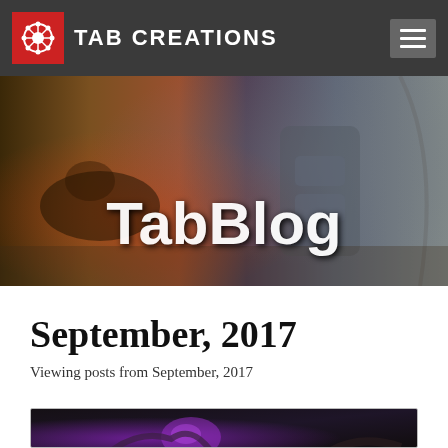TAB CREATIONS
[Figure (illustration): Hero banner image showing a fantasy/sci-fi collage: horseman battle scene on left, armored space suit figure on right, with 'TabBlog' text overlay]
TabBlog
September, 2017
Viewing posts from September, 2017
[Figure (illustration): Dark fantasy artwork showing a creature with purple glowing elements, partially visible at bottom of page]